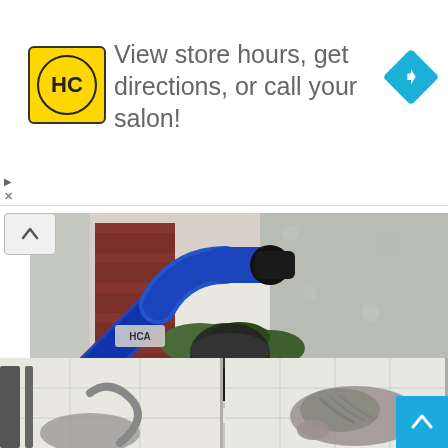[Figure (screenshot): Advertisement banner with HC (salon) logo in yellow square, nav arrow icon, text: View store hours, get directions, or call your salon!]
[Figure (photo): Person using a blue leaf blower attachment to clean debris from a white rain gutter, with green plants visible and textured wall in background]
Little Known Trick to Keep Gutters Clean at All Times
Top Business | Sponsored
[Figure (photo): Two side-by-side thumbnail images showing cats]